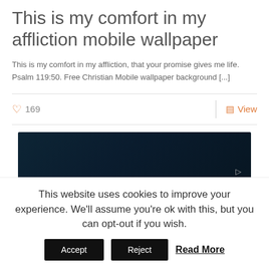This is my comfort in my affliction mobile wallpaper
This is my comfort in my affliction, that your promise gives me life. Psalm 119:50. Free Christian Mobile wallpaper background [...]
169  |  View
[Figure (photo): Dark teal/navy colored image block, nearly black, with a small arrow icon on the right side]
This website uses cookies to improve your experience. We'll assume you're ok with this, but you can opt-out if you wish.
Accept  Reject  Read More